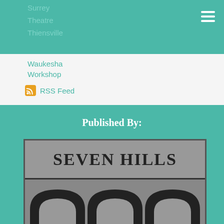Surrey
Theatre
Thiensville
Waukesha
Workshop
RSS Feed
Published By:
[Figure (logo): Seven Hills logo with large bold text 'SEVEN HILLS' on grey background with decorative arch/roll shapes below]